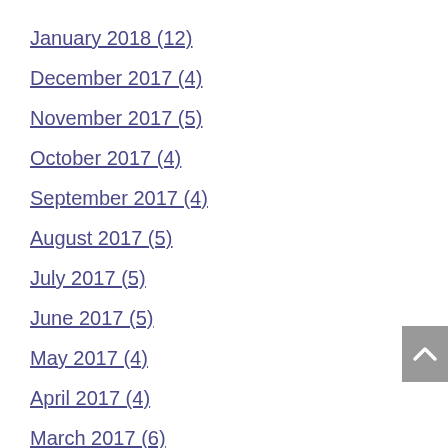January 2018 (12)
December 2017 (4)
November 2017 (5)
October 2017 (4)
September 2017 (4)
August 2017 (5)
July 2017 (5)
June 2017 (5)
May 2017 (4)
April 2017 (4)
March 2017 (6)